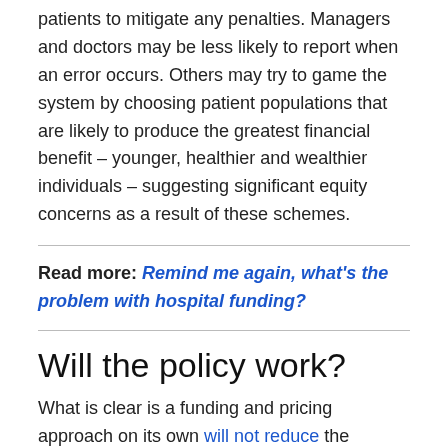patients to mitigate any penalties. Managers and doctors may be less likely to report when an error occurs. Others may try to game the system by choosing patient populations that are likely to produce the greatest financial benefit – younger, healthier and wealthier individuals – suggesting significant equity concerns as a result of these schemes.
Read more: Remind me again, what's the problem with hospital funding?
Will the policy work?
What is clear is a funding and pricing approach on its own will not reduce the number of hospital-acquired complications. A cynical view might suggest the amount hospitals could lose might either not be all that significant